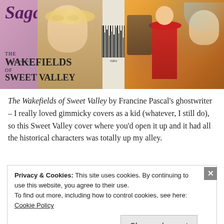[Figure (photo): Book cover photo showing front and back of 'The Wakefields of Sweet Valley' by Francine Pascal's ghostwriter — a Saga book with a pink cover showing a blonde girl, a spine with barcode, and a back cover with illustrated historical characters in orange/amber tones.]
The Wakefields of Sweet Valley by Francine Pascal's ghostwriter – I really loved gimmicky covers as a kid (whatever, I still do), so this Sweet Valley cover where you'd open it up and it had all the historical characters was totally up my alley.
Privacy & Cookies: This site uses cookies. By continuing to use this website, you agree to their use.
To find out more, including how to control cookies, see here: Cookie Policy
Close and accept